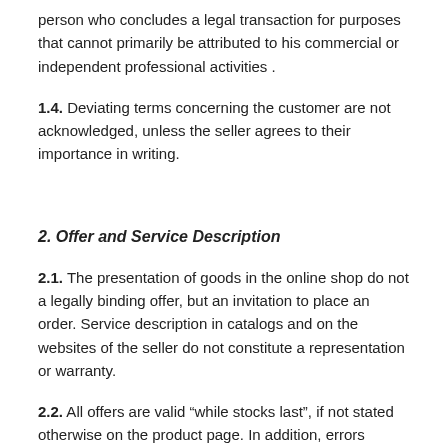person who concludes a legal transaction for purposes that cannot primarily be attributed to his commercial or independent professional activities .
1.4. Deviating terms concerning the customer are not acknowledged, unless the seller agrees to their importance in writing.
2. Offer and Service Description
2.1. The presentation of goods in the online shop do not a legally binding offer, but an invitation to place an order. Service description in catalogs and on the websites of the seller do not constitute a representation or warranty.
2.2. All offers are valid “while stocks last”, if not stated otherwise on the product page. In addition, errors expected.